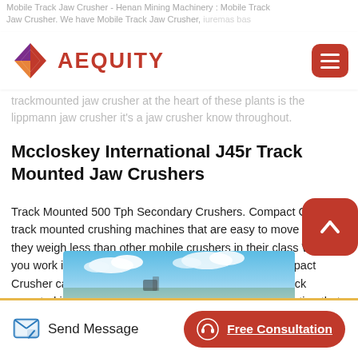Mobile Track Jaw Crusher - Henan Mining Machinery : Mobile Track Jaw Crusher. We have Mobile Track Jaw Crusher,
[Figure (logo): AEQUITY logo with geometric diamond/arrow shape in red, purple and orange, beside bold red text AEQUITY, and a red hamburger menu button on the right]
trackmounted jaw crusher at the heart of these plants is the lippmann jaw crusher it's a jaw crusher know throughout.
Mccloskey International J45r Track Mounted Jaw Crushers
Track Mounted 500 Tph Secondary Crushers. Compact Crush track mounted crushing machines that are easy to move because they weigh less than other mobile crushers in their class Whether you work in urban areas or confined spaces a RM Compact Crusher can do the job.R1200D – the DUPLEX able track mounted jaw crusher is the ideal solution for any application that demands.
[Figure (photo): Partial photo of machinery/equipment against a blue sky background, shown at the bottom of the page]